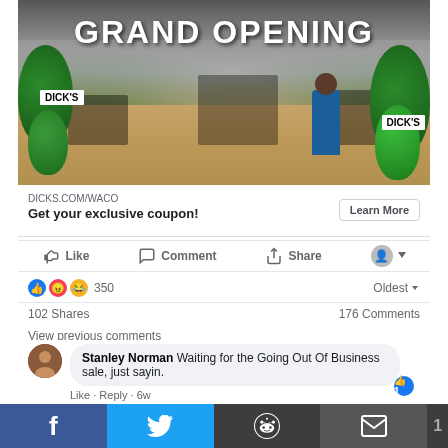[Figure (photo): Dick's Sporting Goods store interior with green balloons and 'GRAND OPENING' text overlay]
DICKS.COM/WACO
Get your exclusive coupon!
Learn More
Like · Comment · Share
350 · Oldest
102 Shares · 176 Comments
View previous comments
Stanley Norman Waiting for the Going Out Of Business sale, just sayin.
Like · Reply · 6w